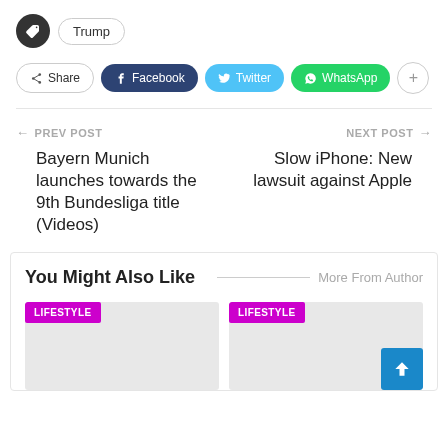Trump
Share | Facebook | Twitter | WhatsApp | +
← PREV POST
NEXT POST →
Bayern Munich launches towards the 9th Bundesliga title (Videos)
Slow iPhone: New lawsuit against Apple
You Might Also Like
More From Author
LIFESTYLE
LIFESTYLE